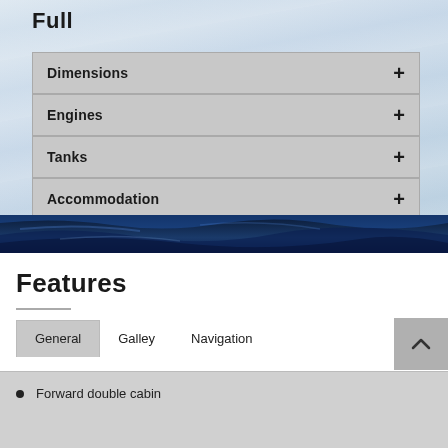Full
| Category | Expand |
| --- | --- |
| Dimensions | + |
| Engines | + |
| Tanks | + |
| Accommodation | + |
Features
General	Galley	Navigation
Forward double cabin